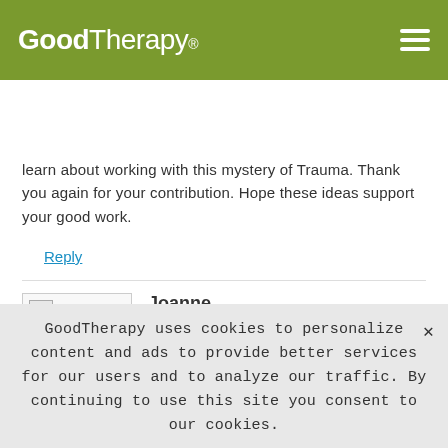GoodTherapy®
[Figure (screenshot): GoodTherapy website header with logo, hamburger menu, and Find a Therapist search bar with ZIP or City input]
learn about working with this mystery of Trauma. Thank you again for your contribution. Hope these ideas support your good work.
Reply
Joanne
June 24th, 2016 at 3:53 PM
Well said Catherine. I wonder though having experience with some of this technique that it can also leave one somewhat lost as
GoodTherapy uses cookies to personalize content and ads to provide better services for our users and to analyze our traffic. By continuing to use this site you consent to our cookies.